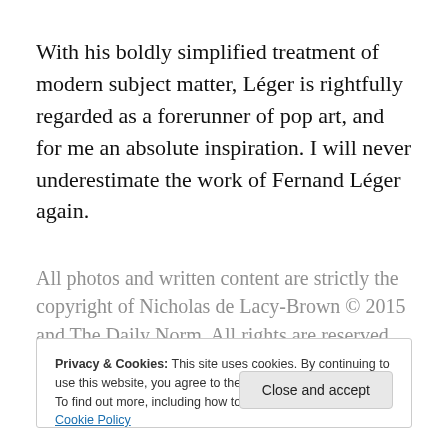With his boldly simplified treatment of modern subject matter, Léger is rightfully regarded as a forerunner of pop art, and for me an absolute inspiration. I will never underestimate the work of Fernand Léger again.
All photos and written content are strictly the copyright of Nicholas de Lacy-Brown © 2015 and The Daily Norm. All rights are reserved.
Privacy & Cookies: This site uses cookies. By continuing to use this website, you agree to their use. To find out more, including how to control cookies, see here: Cookie Policy
Close and accept